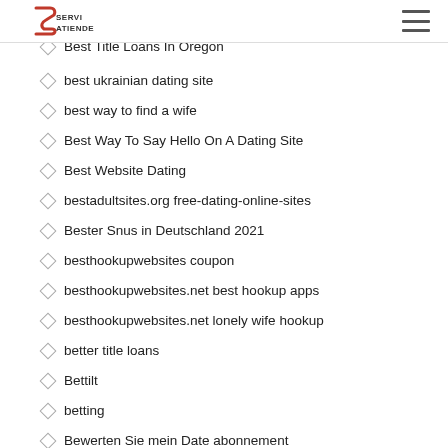SERVIATIENDE logo and hamburger menu
Best Title Loans In North Carolina
Best Title Loans In Oregon
best ukrainian dating site
best way to find a wife
Best Way To Say Hello On A Dating Site
Best Website Dating
bestadultsites.org free-dating-online-sites
Bester Snus in Deutschland 2021
besthookupwebsites coupon
besthookupwebsites.net best hookup apps
besthookupwebsites.net lonely wife hookup
better title loans
Bettilt
betting
Bewerten Sie mein Date abonnement
bgclive dating-online-for-free
bgclive hookup
Bhm Dating dating